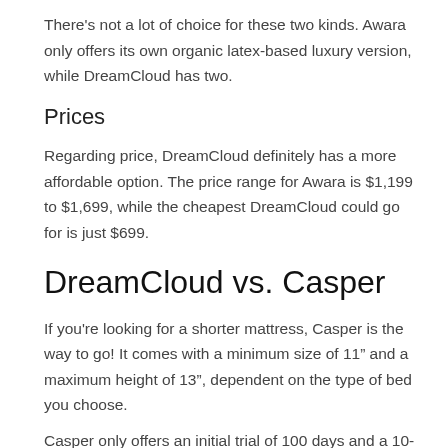There's not a lot of choice for these two kinds. Awara only offers its own organic latex-based luxury version, while DreamCloud has two.
Prices
Regarding price, DreamCloud definitely has a more affordable option. The price range for Awara is $1,199 to $1,699, while the cheapest DreamCloud could go for is just $699.
DreamCloud vs. Casper
If you're looking for a shorter mattress, Casper is the way to go! It comes with a minimum size of 11” and a maximum height of 13”, dependent on the type of bed you choose.
Casper only offers an initial trial of 100 days and a 10-year warranty. Like DreamCloud It also considers the fact that you